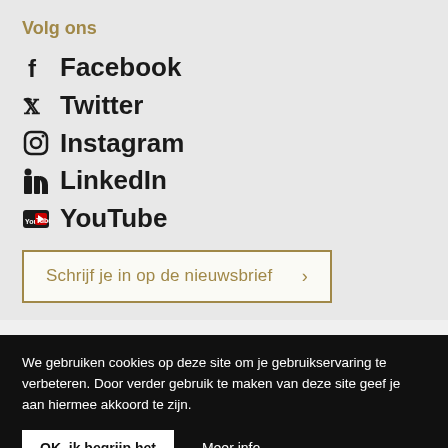Volg ons
Facebook
Twitter
Instagram
LinkedIn
YouTube
Schrijf je in op de nieuwsbrief >
We gebruiken cookies op deze site om je gebruikservaring te verbeteren. Door verder gebruik te maken van deze site geef je aan hiermee akkoord te zijn.
OK, ik begrijp het
Meer info